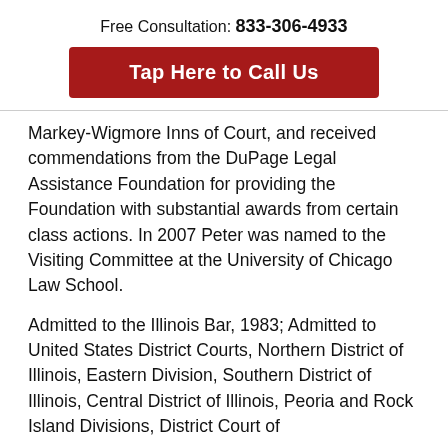Free Consultation: 833-306-4933
Tap Here to Call Us
Markey-Wigmore Inns of Court, and received commendations from the DuPage Legal Assistance Foundation for providing the Foundation with substantial awards from certain class actions. In 2007 Peter was named to the Visiting Committee at the University of Chicago Law School.
Admitted to the Illinois Bar, 1983; Admitted to United States District Courts, Northern District of Illinois, Eastern Division, Southern District of Illinois, Central District of Illinois, Peoria and Rock Island Divisions, District Court of